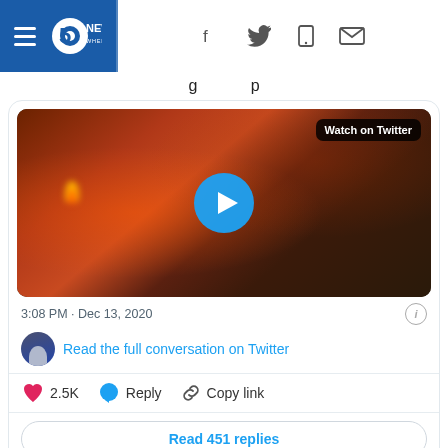5 News Where You Live
[Figure (screenshot): Embedded Twitter/X video thumbnail showing a crowd scene with fire and orange-clad person; large blue play button in center; 'Watch on Twitter' badge in top right corner]
3:08 PM · Dec 13, 2020
Read the full conversation on Twitter
2.5K  Reply  Copy link
Read 451 replies
As the video shows the great...